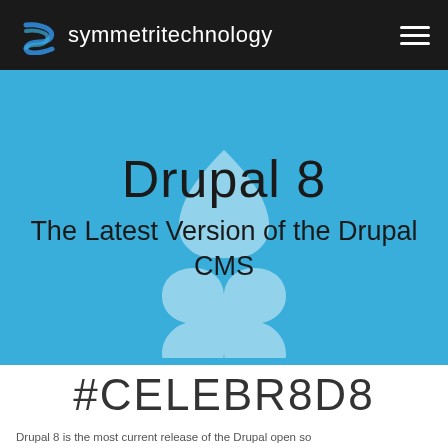symmetritechnology
[Figure (screenshot): Drupal 8 hero banner with Drupal logo watermark on blue background with title text]
Drupal 8 The Latest Version of the Drupal CMS
#CELEBR8D8
Drupal 8 is the most current release of the Drupal open so...